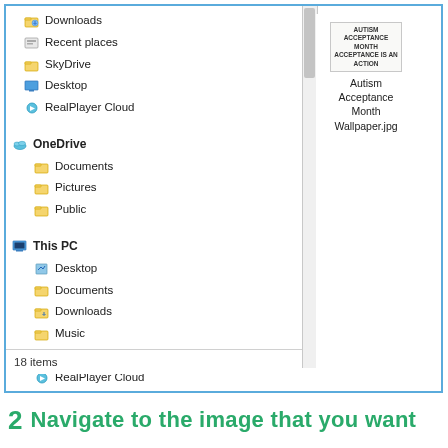[Figure (screenshot): Windows File Explorer screenshot showing navigation panel on left with items: Downloads, Recent places, SkyDrive, Desktop, RealPlayer Cloud, OneDrive (with Documents, Pictures, Public), This PC (with Desktop, Documents, Downloads, Music, Pictures, RealPlayer Cloud, Videos, OS (C:), DATA (D:) highlighted, USBSTORAGE (\\E). Right panel shows one file: Autism Acceptance Month Wallpaper.jpg. Status bar shows 18 items.]
2  Navigate to the image that you want